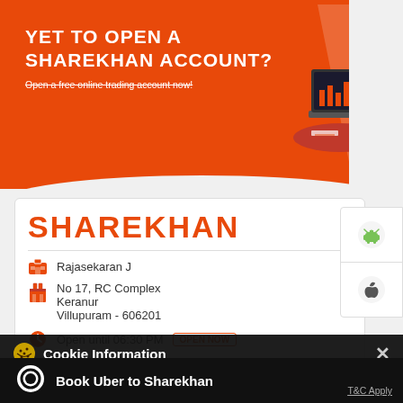[Figure (screenshot): Sharekhan orange banner with text 'YET TO OPEN A SHAREKHAN ACCOUNT? Open a free online trading account now!' and illustration of laptop on desk]
SHAREKHAN
Rajasekaran J
No 17, RC Complex
Keranur
Villupuram - 606201
Open until 06:30 PM   OPEN NOW
Cookie Information
On our website, we use services (including from third-party providers) that help us to improve our online presence (optimization of website) and to display content that is geared to their interests. We need your consent before being able to use these services.
Book Uber to Sharekhan
T&C Apply